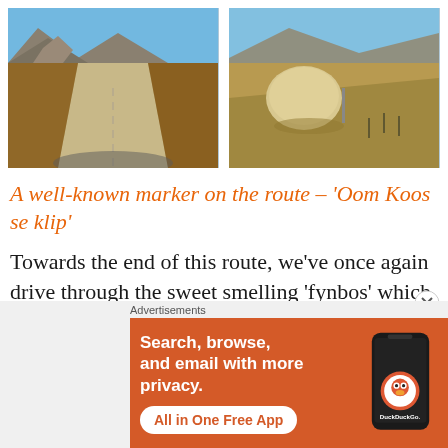[Figure (photo): Two side-by-side photos of a mountain dirt road route. Left photo: a gravel road going through rocky mountains under blue sky, viewed from a car dashboard. Right photo: a large boulder beside a mountain road with arid rocky hills in background.]
A well-known marker on the route – 'Oom Koos se klip'
Towards the end of this route, we've once again drive through the sweet smelling 'fynbos' which are on both sides of the road — this is a truly
[Figure (other): Advertisement banner for DuckDuckGo app. Orange background with text: 'Search, browse, and email with more privacy. All in One Free App' and DuckDuckGo logo with phone graphic.]